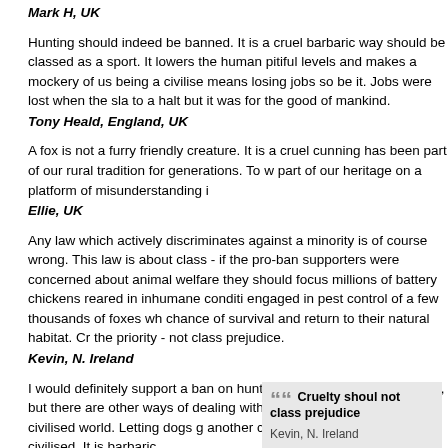Mark H, UK
Hunting should indeed be banned. It is a cruel barbaric way should be classed as a sport. It lowers the human pitiful levels and makes a mockery of us being a civilised means losing jobs so be it. Jobs were lost when the sla to a halt but it was for the good of mankind.
Tony Heald, England, UK
A fox is not a furry friendly creature. It is a cruel cunning has been part of our rural tradition for generations. To w part of our heritage on a platform of misunderstanding i
Ellie, UK
Any law which actively discriminates against a minority is of course wrong. This law is about class - if the pro-ban supporters were concerned about animal welfare they should focus millions of battery chickens reared in inhumane conditi engaged in pest control of a few thousands of foxes wh chance of survival and return to their natural habitat. Cr the priority - not class prejudice.
Kevin, N. Ireland
[Figure (other): Pull quote box with large quotation marks reading 'Cruelty should not class prejudice' attributed to Kevin, N. Ireland]
I would definitely support a ban on hunting with dogs. I be a nuisance, but there are other ways of dealing with supposed to be living in a civilised world. Letting dogs g another creature to shreds, is not civilised. It is barbaric
Nikki, UK